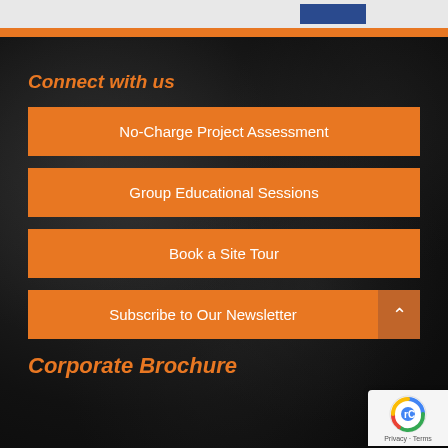Connect with us
No-Charge Project Assessment
Group Educational Sessions
Book a Site Tour
Subscribe to Our Newsletter
Corporate Brochure